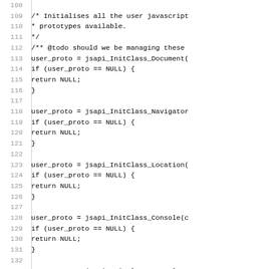[Figure (other): Source code listing (C/JavaScript) with line numbers 108-137, showing initialization of user javascript prototypes including jsapi_InitClass_Document, jsapi_InitClass_Navigator, jsapi_InitClass_Location, jsapi_InitClass_Console, and jsapi_InitClass_HTMLElement functions with NULL checks.]